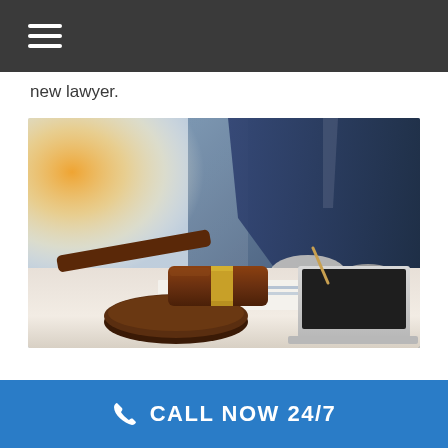new lawyer.
[Figure (photo): A judge's gavel on a wooden base in the foreground, with a blurred lawyer in a dark suit writing on documents with a laptop in the background. Warm light on the left side.]
CALL NOW 24/7